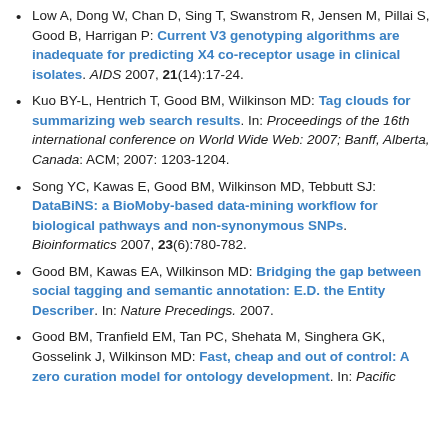Low A, Dong W, Chan D, Sing T, Swanstrom R, Jensen M, Pillai S, Good B, Harrigan P: Current V3 genotyping algorithms are inadequate for predicting X4 co-receptor usage in clinical isolates. AIDS 2007, 21(14):17-24.
Kuo BY-L, Hentrich T, Good BM, Wilkinson MD: Tag clouds for summarizing web search results. In: Proceedings of the 16th international conference on World Wide Web: 2007; Banff, Alberta, Canada: ACM; 2007: 1203-1204.
Song YC, Kawas E, Good BM, Wilkinson MD, Tebbutt SJ: DataBiNS: a BioMoby-based data-mining workflow for biological pathways and non-synonymous SNPs. Bioinformatics 2007, 23(6):780-782.
Good BM, Kawas EA, Wilkinson MD: Bridging the gap between social tagging and semantic annotation: E.D. the Entity Describer. In: Nature Precedings. 2007.
Good BM, Tranfield EM, Tan PC, Shehata M, Singhera GK, Gosselink J, Wilkinson MD: Fast, cheap and out of control: A zero curation model for ontology development. In: Pacific